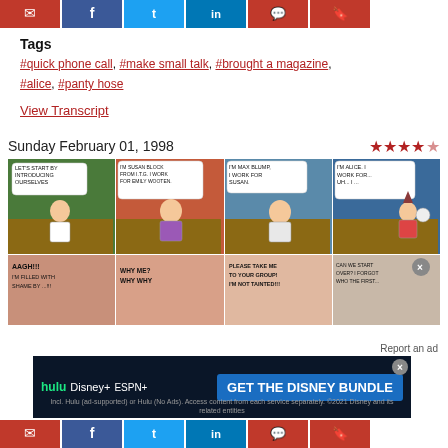[Figure (other): Social share buttons bar (email, facebook, twitter, linkedin, comments, bookmark) in red/blue]
Tags
#quick phone call, #make small talk, #brought a magazine, #alice, #panty hose
View Transcript
Sunday February 01, 1998
[Figure (illustration): Dilbert comic strip dated Sunday February 01, 1998 showing characters introducing themselves at a meeting. Top row: four panels with characters at a table – panel 1 'LET'S START BY INTRODUCING OURSELVES', panel 2 'I'M SUSAN BLOCK FROM I.T.G. I WORK FOR EMILY WOOTEN.', panel 3 'I'M MAX BLUMP, I WORK FOR SUSAN.', panel 4 'I'M ALICE. I WORK FOR... UH... I...'. Bottom row: four panels showing reactions – 'AAGH!!! I'M FILLED WITH SHAME BY...!!!', 'WHY ME? WHY WHY', 'PLEASE TAKE ME TO YOUR GROUP! I'M NOT TAINTED!!!', 'CAN WE START OVER? I FORGOT WHO THE FIRST...']
[Figure (other): Hulu Disney+ ESPN advertisement banner: GET THE DISNEY BUNDLE]
[Figure (other): Social share buttons bar at bottom (email, facebook, twitter, linkedin, comments, bookmark)]